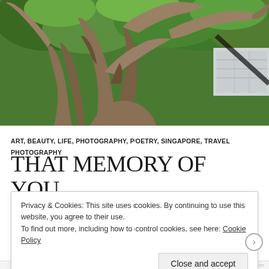[Figure (photo): Outdoor bronze sculpture of intertwined human figures reaching upward, with green trees in background and a building visible at top right. High-contrast HDR photography style.]
ART, BEAUTY, LIFE, PHOTOGRAPHY, POETRY, SINGAPORE, TRAVEL PHOTOGRAPHY
THAT MEMORY OF YOU
Privacy & Cookies: This site uses cookies. By continuing to use this website, you agree to their use.
To find out more, including how to control cookies, see here: Cookie Policy
Close and accept